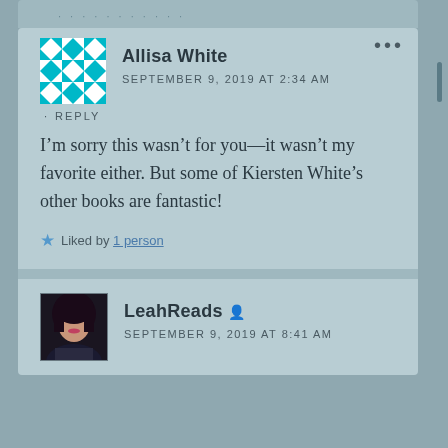[Figure (illustration): Allisa White avatar - teal and white diamond/square geometric pattern]
Allisa White
SEPTEMBER 9, 2019 AT 2:34 AM
REPLY
I’m sorry this wasn’t for you—it wasn’t my favorite either. But some of Kiersten White’s other books are fantastic!
Liked by 1 person
[Figure (photo): LeahReads avatar - photo of a young woman with dark hair]
LeahReads
SEPTEMBER 9, 2019 AT 8:41 AM